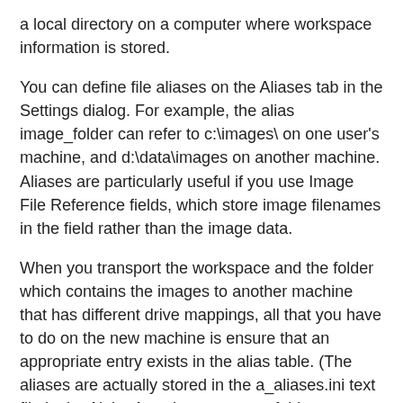a local directory on a computer where workspace information is stored.
You can define file aliases on the Aliases tab in the Settings dialog. For example, the alias image_folder can refer to c:\images\ on one user's machine, and d:\data\images on another machine. Aliases are particularly useful if you use Image File Reference fields, which store image filenames in the field rather than the image data.
When you transport the workspace and the folder which contains the images to another machine that has different drive mappings, all that you have to do on the new machine is ensure that an appropriate entry exists in the alias table. (The aliases are actually stored in the a_aliases.ini text file in the Alpha Anywhere program folder.
The alias reference can be an explicit drive/path, or it can be an expression that evaluates to a drive/path. For example, in the picture below, the alias exepath is set to